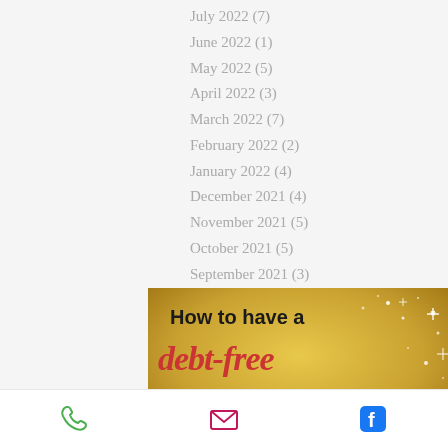July 2022 (7)
June 2022 (1)
May 2022 (5)
April 2022 (3)
March 2022 (7)
February 2022 (2)
January 2022 (4)
December 2021 (4)
November 2021 (5)
October 2021 (5)
September 2021 (3)
[Figure (illustration): Promotional image with golden bokeh background showing text: 'How to have a debt-free Christmas' in bold black, decorative red, and green script fonts]
Phone | Email | Facebook